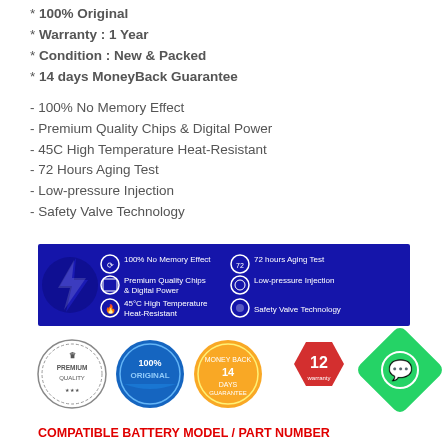* 100% Original
* Warranty : 1 Year
* Condition : New & Packed
* 14 days MoneyBack Guarantee
- 100% No Memory Effect
- Premium Quality Chips & Digital Power
- 45C High Temperature Heat-Resistant
- 72 Hours Aging Test
- Low-pressure Injection
- Safety Valve Technology
[Figure (infographic): Blue banner with battery features: 100% No Memory Effect, Premium Quality Chips & Digital Power, 45C High Temperature Heat-Resistant, 72 hours Aging Test, Low-pressure Injection, Safety Valve Technology]
[Figure (infographic): Four badge icons: Premium Quality, 100% Original, 14 day guarantee, 12 month warranty]
COMPATIBLE BATTERY MODEL / PART NUMBER